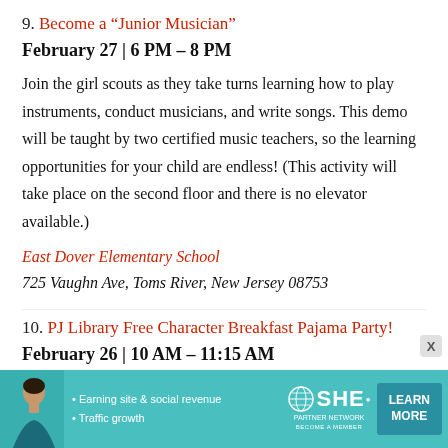9. Become a “Junior Musician”
February 27 | 6 PM – 8 PM
Join the girl scouts as they take turns learning how to play instruments, conduct musicians, and write songs. This demo will be taught by two certified music teachers, so the learning opportunities for your child are endless! (This activity will take place on the second floor and there is no elevator available.)
East Dover Elementary School
725 Vaughn Ave, Toms River, New Jersey 08753
10. PJ Library Free Character Breakfast Pajama Party!
February 26 | 10 AM – 11:15 AM
[Figure (infographic): Advertisement banner for SHE Partner Network with text: Earning site & social revenue, Traffic growth. Includes a LEARN MORE button.]